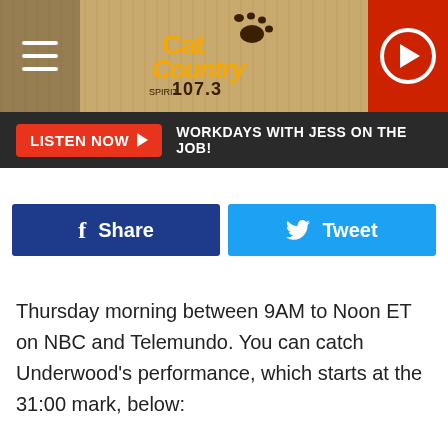[Figure (logo): Cat Country 107.3 radio station logo in orange and black with paw print, on wood-grain background header with hamburger menu and red play button]
[Figure (screenshot): Listen Now bar with red button and text: WORKDAYS WITH JESS ON THE JOB!]
[Figure (screenshot): Facebook Share button (dark blue) and Twitter Tweet button (light blue)]
Thursday morning between 9AM to Noon ET on NBC and Telemundo. You can catch Underwood's performance, which starts at the 31:00 mark, below: